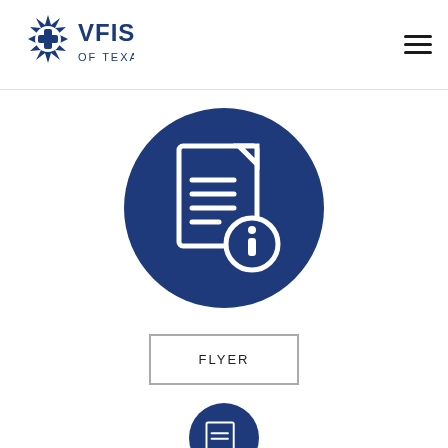[Figure (logo): VFIS of Texas logo — blue snowflake/star icon with 'VFIS OF TEXAS' text]
[Figure (illustration): Dark blue circle icon containing a document with information (i) badge overlay]
FLYER
[Figure (illustration): Dark blue circle icon at bottom (partially visible), similar document/resource icon]